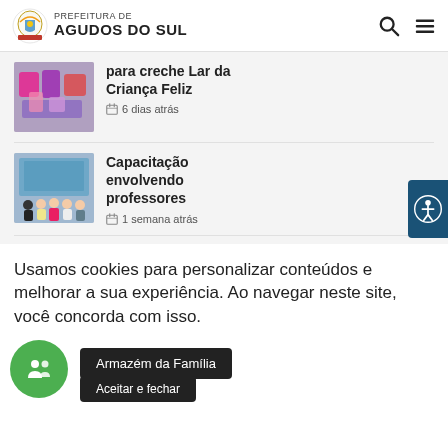PREFEITURA DE AGUDOS DO SUL
[Figure (photo): Thumbnail of colored fabrics/items for creche]
para creche Lar da Criança Feliz
🗓 6 dias atrás
[Figure (photo): Group photo of teachers at a training session]
Capacitação envolvendo professores
🗓 1 semana atrás
Usamos cookies para personalizar conteúdos e melhorar a sua experiência. Ao navegar neste site, você concorda com isso.
Armazém da Família
Aceitar e fechar